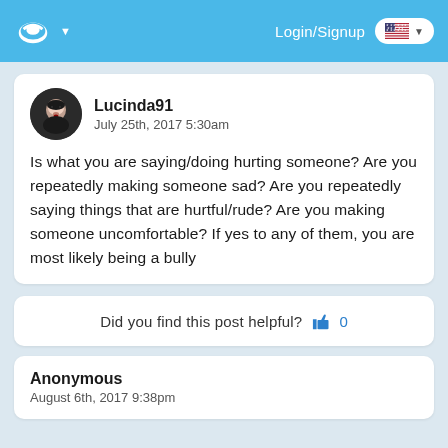Login/Signup
Lucinda91
July 25th, 2017 5:30am
Is what you are saying/doing hurting someone? Are you repeatedly making someone sad? Are you repeatedly saying things that are hurtful/rude? Are you making someone uncomfortable? If yes to any of them, you are most likely being a bully
Did you find this post helpful? 0
Anonymous
August 6th, 2017 9:38pm